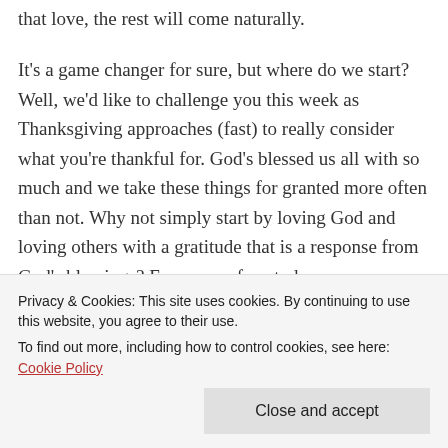that love, the rest will come naturally.
It's a game changer for sure, but where do we start? Well, we'd like to challenge you this week as Thanksgiving approaches (fast) to really consider what you're thankful for. God's blessed us all with so much and we take these things for granted more often than not. Why not simply start by loving God and loving others with a gratitude that is a response from God's blessings? For many of us, today
Privacy & Cookies: This site uses cookies. By continuing to use this website, you agree to their use.
To find out more, including how to control cookies, see here: Cookie Policy
Reflection Song: God Our King